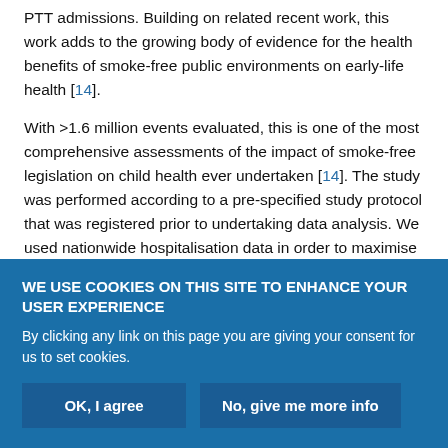PTT admissions. Building on related recent work, this work adds to the growing body of evidence for the health benefits of smoke-free public environments on early-life health [14].
With >1.6 million events evaluated, this is one of the most comprehensive assessments of the impact of smoke-free legislation on child health ever undertaken [14]. The study was performed according to a pre-specified study protocol that was registered prior to undertaking data analysis. We used nationwide hospitalisation data in order to maximise power and minimise selection bias. Our data were seasonally adjusted, thereby inherently accounting for variations in corresponding environmental exposures such as
WE USE COOKIES ON THIS SITE TO ENHANCE YOUR USER EXPERIENCE
By clicking any link on this page you are giving your consent for us to set cookies.
OK, I agree
No, give me more info